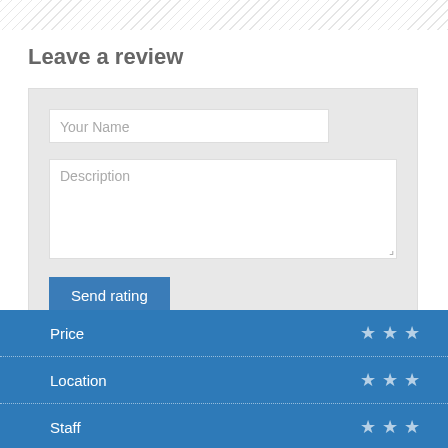[Figure (other): Diagonal stripe decorative bar at top of page]
Leave a review
[Figure (screenshot): Review form with Your Name input, Description textarea, and Send rating button on grey background]
| Category | Rating |
| --- | --- |
| Price | 3 stars |
| Location | 3 stars |
| Staff | 3 stars |
| Services | 3 stars |
| Food | 3 stars |